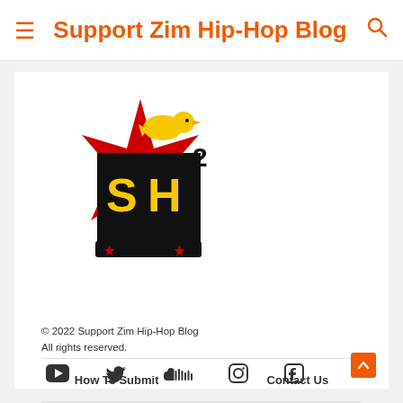Support Zim Hip-Hop Blog
[Figure (logo): Support Zim Hip-Hop Blog logo: SH squared with a yellow bird on a red star background, with a turntable at the bottom]
© 2022 Support Zim Hip-Hop Blog
All rights reserved.
How To Submit
Contact Us
[Figure (other): Social media icons row: YouTube, Twitter, SoundCloud, Instagram, Facebook]